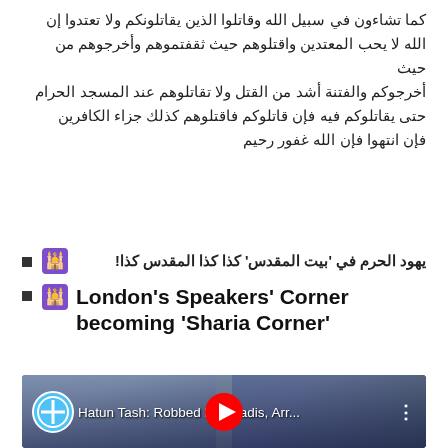Arabic body text paragraph (right-to-left script content spanning 5 lines)
🕌 [Arabic text with bold formatting and exclamation mark] !
London's Speakers' Corner becoming 'Sharia Corner'
[Figure (screenshot): YouTube video thumbnail showing two people with glasses against a blue background. Channel icon (blue circle with cross) on left, title 'Hatun Tash: Robbed by Jihadis, Arr...' and three-dot menu icon. Red YouTube play button in center.]